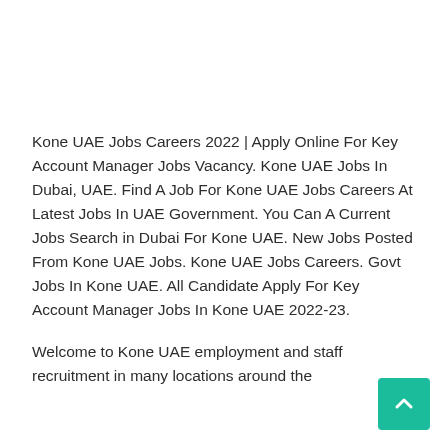Kone UAE Jobs Careers 2022 | Apply Online For Key Account Manager Jobs Vacancy. Kone UAE Jobs In Dubai, UAE. Find A Job For Kone UAE Jobs Careers At Latest Jobs In UAE Government. You Can A Current Jobs Search in Dubai For Kone UAE. New Jobs Posted From Kone UAE Jobs. Kone UAE Jobs Careers. Govt Jobs In Kone UAE. All Candidate Apply For Key Account Manager Jobs In Kone UAE 2022-23.
Welcome to Kone UAE employment and staff recruitment in many locations around the